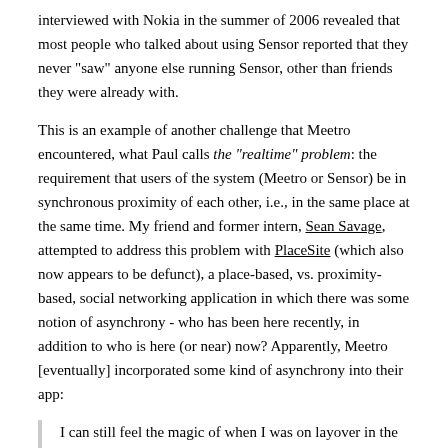interviewed with Nokia in the summer of 2006 revealed that most people who talked about using Sensor reported that they never "saw" anyone else running Sensor, other than friends they were already with.
This is an example of another challenge that Meetro encountered, what Paul calls the "realtime" problem: the requirement that users of the system (Meetro or Sensor) be in synchronous proximity of each other, i.e., in the same place at the same time. My friend and former intern, Sean Savage, attempted to address this problem with PlaceSite (which also now appears to be defunct), a place-based, vs. proximity-based, social networking application in which there was some notion of asynchrony - who has been here recently, in addition to who is here (or near) now? Apparently, Meetro [eventually] incorporated some kind of asynchrony into their app:
I can still feel the magic of when I was on layover in the Denver Airport, I met one of our users, and we grabbed a beer. This is what I dreamed Meetro would be about all the time, but those moments were too few and far between. We did fix this in the end but it was too little too late. So, to anyone tackling this problem in the future, make sure you